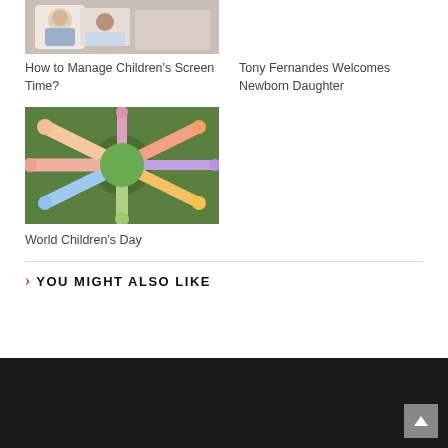[Figure (photo): Child with teddy bear, screen time article thumbnail]
How to Manage Children's Screen Time?
[Figure (photo): Tony Fernandes article thumbnail (blank/not loaded)]
Tony Fernandes Welcomes Newborn Daughter
[Figure (photo): Children's hands touching a green surface in a circle, World Children's Day thumbnail]
World Children's Day
YOU MIGHT ALSO LIKE
[Figure (photo): Large dark image thumbnail for 'You Might Also Like' article]